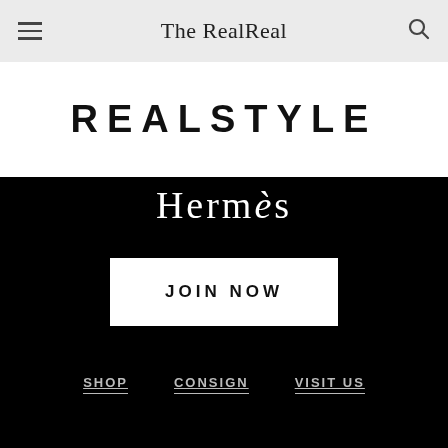The RealReal
REALSTYLE
Hermès
JOIN NOW
SHOP  CONSIGN  VISIT US
[Figure (illustration): Social media icons: Facebook, Instagram, Pinterest, Twitter, Google+, and a mobile phone icon]